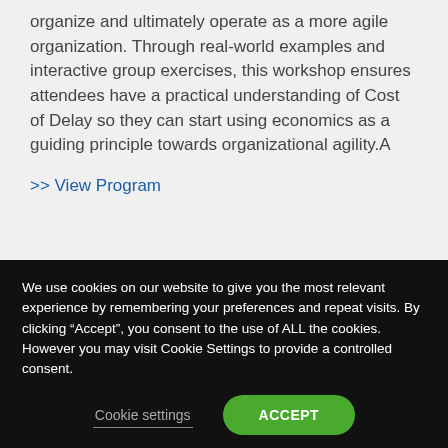organize and ultimately operate as a more agile organization. Through real-world examples and interactive group exercises, this workshop ensures attendees have a practical understanding of Cost of Delay so they can start using economics as a guiding principle towards organizational agility.A
>> View Program
We use cookies on our website to give you the most relevant experience by remembering your preferences and repeat visits. By clicking “Accept”, you consent to the use of ALL the cookies. However you may visit Cookie Settings to provide a controlled consent.
Cookie settings
ACCEPT